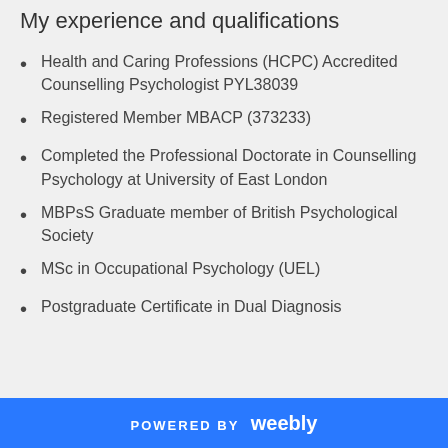My experience and qualifications
Health and Caring Professions (HCPC) Accredited Counselling Psychologist PYL38039
Registered Member MBACP (373233)
Completed the Professional Doctorate in Counselling Psychology at University of East London
MBPsS Graduate member of British Psychological Society
MSc in Occupational Psychology (UEL)
Postgraduate Certificate in Dual Diagnosis
POWERED BY weebly